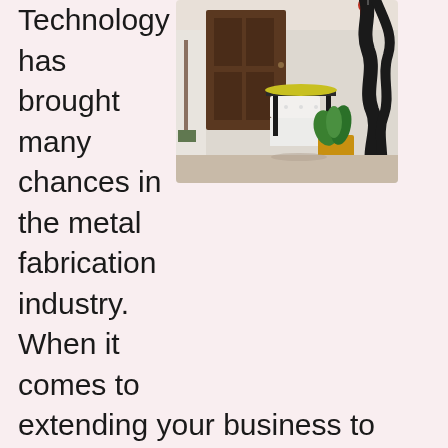Technology has brought many chances in the metal fabrication industry. When it comes to extending your business to global levels, you need to work with the right metal fabrication company. You need to work with a fabricator whom you can trust at all times. The company which is trustworthy will help you to bring the best outcome for you business. Getting the right fabrication firm is however a difficult task more so to a beginner. This is why it is advisable to get started with some research and Study process via credible sources. The internet comes in handy when it comes to getting in touch with a listing of metal
[Figure (photo): A courtyard or patio scene with a white plastic chair and table in the center, a dark wooden door in the background, potted plants including a yellow pot with a plant, hanging red potted plant, and a large dark twisted sculptural element on the right side against a white wall.]